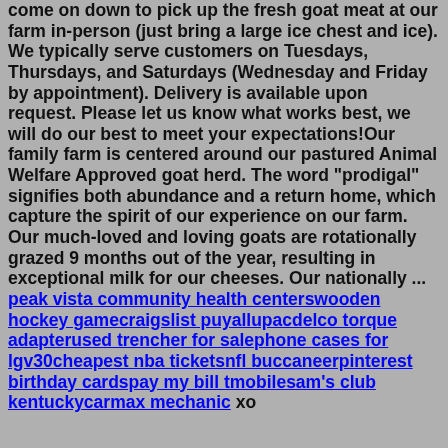come on down to pick up the fresh goat meat at our farm in-person (just bring a large ice chest and ice). We typically serve customers on Tuesdays, Thursdays, and Saturdays (Wednesday and Friday by appointment). Delivery is available upon request. Please let us know what works best, we will do our best to meet your expectations!Our family farm is centered around our pastured Animal Welfare Approved goat herd. The word "prodigal" signifies both abundance and a return home, which capture the spirit of our experience on our farm. Our much-loved and loving goats are rotationally grazed 9 months out of the year, resulting in exceptional milk for our cheeses. Our nationally ... peak vista community health centerswooden hockey gamecraigslist puyallupacdelco torque adapterused trencher for salephone cases for lgv30cheapest nba ticketsnfl buccaneerpinterest birthday cardspay my bill tmobilesam's club kentuckycarmax mechanic xo